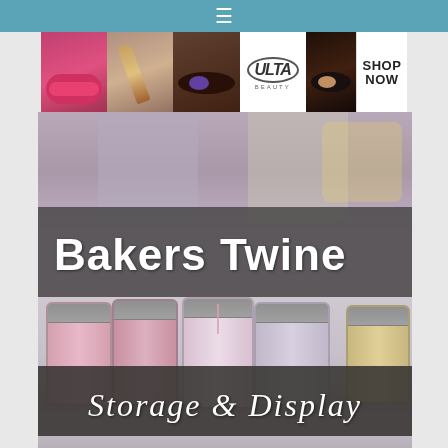[Figure (screenshot): Top navigation bar with hamburger menu icon on a teal/steel blue background]
[Figure (photo): Ulta Beauty advertisement banner showing makeup images - lips with lipstick, makeup brush, eye with makeup, Ulta logo, smoky eye closeup, and SHOP NOW button on white background]
[Figure (photo): Bakers Twine Storage and Display - mason jars filled with colorful bakers twine in pink, lavender/gray, and yellow/gold colors with decorative lids on a shelf. Large bold white text 'Bakers Twine' on gray banner overlay, and italic white script text 'Storage & Display' on dark gray banner at bottom.]